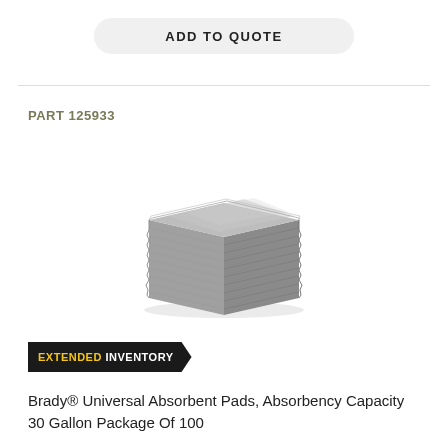ADD TO QUOTE
PART 125933
[Figure (photo): Stack of gray universal absorbent pads, approximately 100 pads stacked on top of each other, viewed from a slightly elevated angle.]
EXTENDED INVENTORY
Brady® Universal Absorbent Pads, Absorbency Capacity 30 Gallon Package Of 100